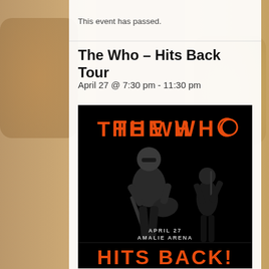This event has passed.
The Who – Hits Back Tour
April 27 @ 7:30 pm - 11:30 pm
[Figure (illustration): Concert promotional poster for The Who Hits Back Tour on black background. Red bold text reads THE WHO at the top with a stylized O containing a circle. Silhouette/black-and-white photo of guitarist in foreground and singer in background. Text reads APRIL 27, AMALIE ARENA, and HITS BACK! in red at the bottom.]